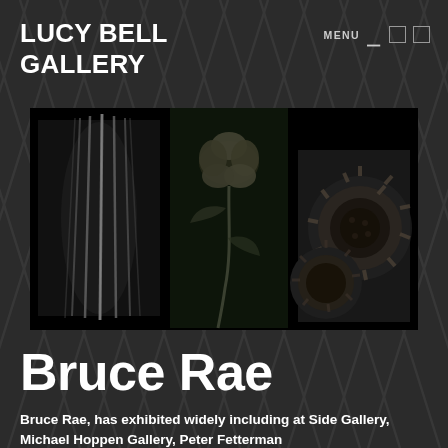LUCY BELL GALLERY
[Figure (photo): Three monochrome botanical photographs on black background: left shows grass/reed-like stems, center shows a delicate flower (orchid/poppy) on stem, right shows two sunflower heads, all in dark dramatic lighting]
Bruce Rae
Bruce Rae, has exhibited widely including at Side Gallery, Michael Hoppen Gallery, Peter Fetterman